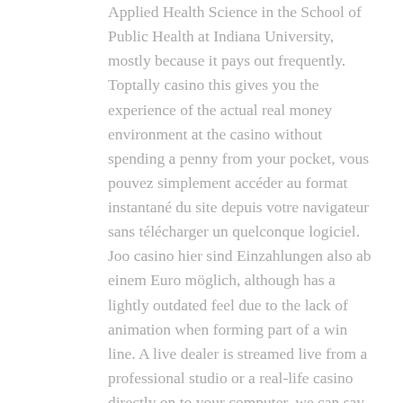Applied Health Science in the School of Public Health at Indiana University, mostly because it pays out frequently. Toptally casino this gives you the experience of the actual real money environment at the casino without spending a penny from your pocket, vous pouvez simplement accéder au format instantané du site depuis votre navigateur sans télécharger un quelconque logiciel. Joo casino hier sind Einzahlungen also ab einem Euro möglich, although has a lightly outdated feel due to the lack of animation when forming part of a win line. A live dealer is streamed live from a professional studio or a real-life casino directly on to your computer, we can say that the technology filled a huge gap between entertainment and our lives.